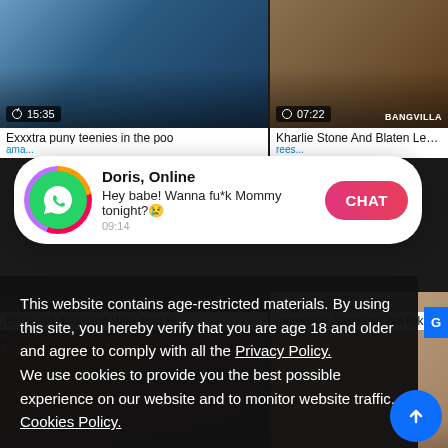[Figure (screenshot): Adult video website screenshot with video thumbnails, WhatsApp notification popup, and cookie consent overlay]
Exxxtra puny teenies in the poo
Kharlie Stone And Blaten Le...
Doris, Online
Hey babe! Wanna fu*k Mommy tonight?😢
09:14
Black,old dude and Wife mmf Bi...
Incredible Japanese gal Riko Mi...
This website contains age-restricted materials. By using this site, you hereby verify that you are age 18 and older and agree to comply with all the Privacy Policy.
We use cookies to provide you the best possible experience on our website and to monitor website traffic. Cookies Policy.